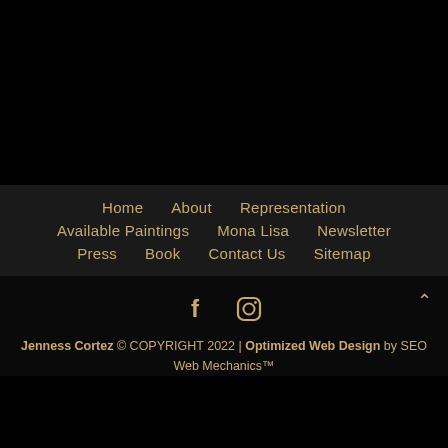[Figure (screenshot): Black area at top of page, likely showing a dark/black portion of a painting or image]
Home
About
Representation
Available Paintings
Mona Lisa
Newsletter
Press
Book
Contact Us
Sitemap
[Figure (illustration): Facebook and Instagram social media icons in gold/tan color]
Jenness Cortez © COPYRIGHT 2022 | Optimized Web Design by SEO Web Mechanics™